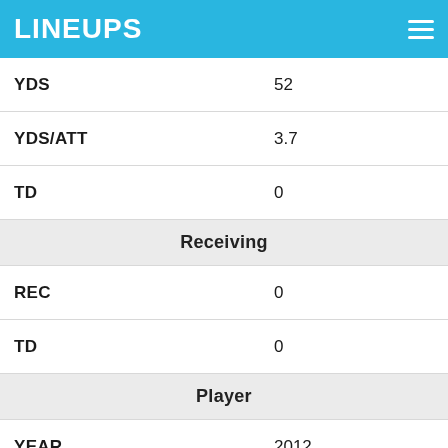LINEUPS
| Stat | Value |
| --- | --- |
| YDS | 52 |
| YDS/ATT | 3.7 |
| TD | 0 |
| Receiving |  |
| REC | 0 |
| TD | 0 |
| Player |  |
| YEAR | 2012 |
| TEAM | NO |
| GP | 16 |
| SNAPS | 13 |
| FUM | 0 |
| TOT TD | 0 |